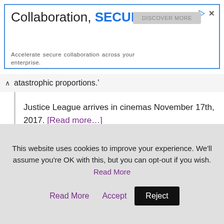[Figure (screenshot): Advertisement banner with blue border. Headline: 'Collaboration, SECURED.' Subtext: 'Accelerate secure collaboration across your enterprise.' Gray button on right side. Play and X icons top right.]
atastrophic proportions.'
Justice League arrives in cinemas November 17th, 2017. [Read more…]
CHECK OUT THESE RELATED ARCHIVES: ACTORS: Ben Affleck, Ezra Miller, Gal Gadot, Jason Momoa, Ray Fisher, Jeremy Irons, Ciaran Hinds  DIRECTORS: Joss Whedon, Zack Snyder  FILMS: Justice League
This website uses cookies to improve your experience. We'll assume you're OK with this, but you can opt-out if you wish. Read More Accept Reject